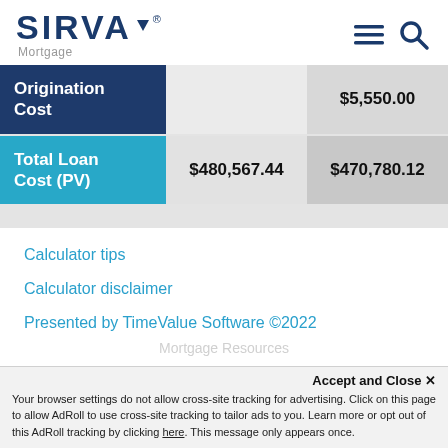SIRVA® Mortgage
|  | Column 1 | Column 2 |
| --- | --- | --- |
| Origination Cost |  | $5,550.00 |
| Total Loan Cost (PV) | $480,567.44 | $470,780.12 |
Calculator tips
Calculator disclaimer
Presented by TimeValue Software ©2022
Accept and Close ×
Your browser settings do not allow cross-site tracking for advertising. Click on this page to allow AdRoll to use cross-site tracking to tailor ads to you. Learn more or opt out of this AdRoll tracking by clicking here. This message only appears once.